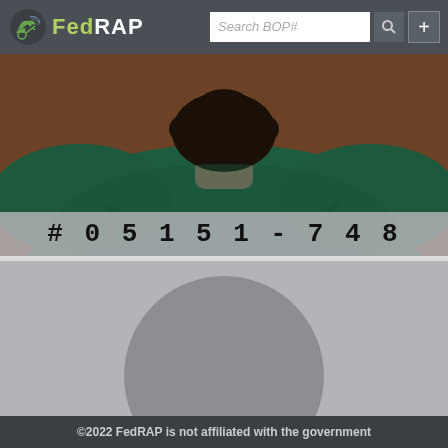FedRAP — Search BOP#
[Figure (photo): Photo of a person from behind, wearing a dark teal/green sweatshirt with curly dark hair, seated. A semi-transparent gray overlay band across the lower portion of the photo displays the BOP number #05151-748.]
#05151-748
[Figure (photo): Placeholder profile image: gray background with a gray circle representing an anonymous user silhouette.]
©2022 FedRAP is not affiliated with the government